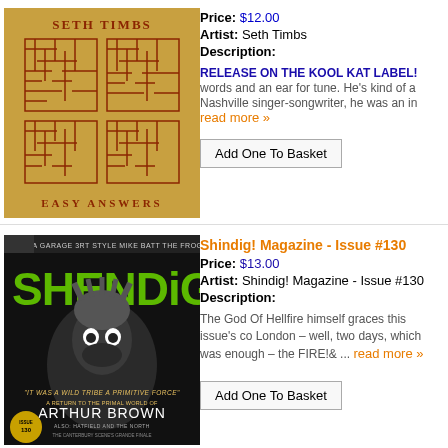[Figure (photo): Seth Timbs - Easy Answers album cover: maze pattern on yellow/golden background with artist name at top and album title at bottom]
Price: $12.00
Artist: Seth Timbs
Description:
RELEASE ON THE KOOL KAT LABEL! words and an ear for tune. He's kind of a Nashville singer-songwriter, he was an in read more »
Add One To Basket
[Figure (photo): Shindig! Magazine Issue #130 cover featuring Arthur Brown with wild expression, magazine title in green letters, text about Arthur Brown and Hatfield and the North]
Shindig! Magazine - Issue #130
Price: $13.00
Artist: Shindig! Magazine - Issue #130
Description:
The God Of Hellfire himself graces this issue's co London – well, two days, which was enough – the FIRE!& ... read more »
Add One To Basket